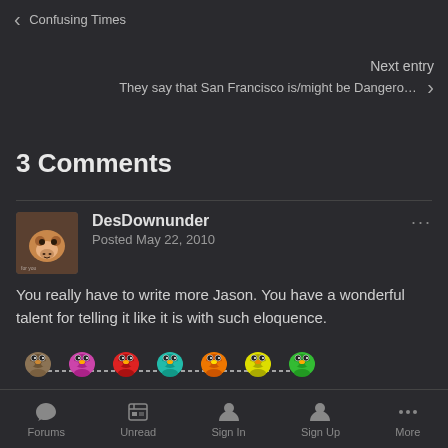< Confusing Times
Next entry >
They say that San Francisco is/might be Dangero…
3 Comments
DesDownunder
Posted May 22, 2010
You really have to write more Jason. You have a wonderful talent for telling it like it is with such eloquence.
[Figure (illustration): Row of colorful cartoon bird/chick emojis in various colors: brown, purple, red, teal, orange, yellow, green]
Forums  Unread  Sign In  Sign Up  More